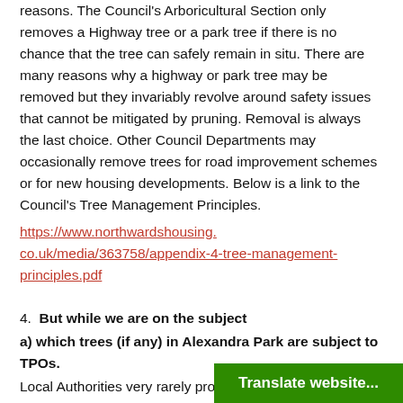reasons. The Council's Arboricultural Section only removes a Highway tree or a park tree if there is no chance that the tree can safely remain in situ. There are many reasons why a highway or park tree may be removed but they invariably revolve around safety issues that cannot be mitigated by pruning.  Removal is always the last choice. Other Council Departments may occasionally remove trees for road improvement schemes or for new housing developments. Below is a link to the Council's Tree Management Principles.
https://www.northwardshousing.co.uk/media/363758/appendix-4-tree-management-principles.pdf
4.  But while we are on the subject
a) which trees (if any) in Alexandra Park are subject to TPOs.
Local Authorities very rarely protect their own trees with a TPO as it is assumed that they w…